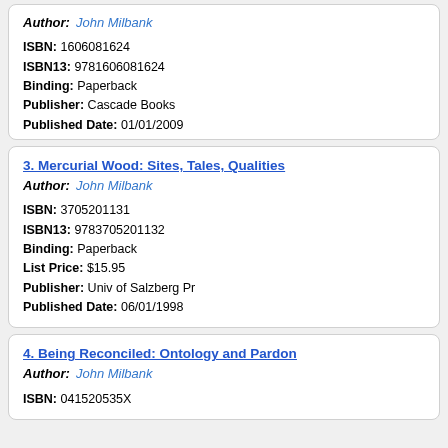Author: John Milbank
ISBN: 1606081624
ISBN13: 9781606081624
Binding: Paperback
Publisher: Cascade Books
Published Date: 01/01/2009
3. Mercurial Wood: Sites, Tales, Qualities
Author: John Milbank
ISBN: 3705201131
ISBN13: 9783705201132
Binding: Paperback
List Price: $15.95
Publisher: Univ of Salzberg Pr
Published Date: 06/01/1998
4. Being Reconciled: Ontology and Pardon
Author: John Milbank
ISBN: 041520535X